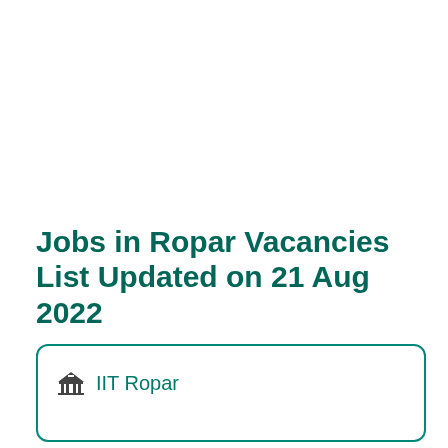Jobs in Ropar Vacancies List Updated on 21 Aug 2022
IIT Ropar